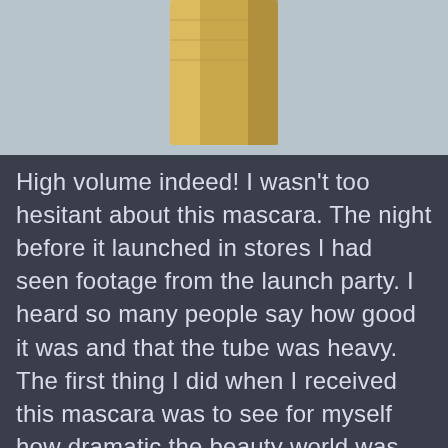[Figure (photo): Close-up photo of a gold/bronze metallic mascara tube against a light blue-grey background, showing the bottom portion of the tube.]
High volume indeed! I wasn't too hesitant about this mascara. The night before it launched in stores I had seen footage from the launch party. I heard so many people say how good it was and that the tube was heavy. The first thing I did when I received this mascara was to see for myself how dramatic the beauty world was. This time they weren't fibbing. The tube is hefty! The metal packaging probably contributes to that. The wand was very fluffy and quite big to which I wasn't sure how to feel about and how to